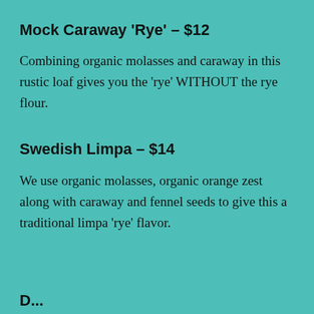Mock Caraway 'Rye' – $12
Combining organic molasses and caraway in this rustic loaf gives you the 'rye' WITHOUT the rye flour.
Swedish Limpa – $14
We use organic molasses, organic orange zest along with caraway and fennel seeds to give this a traditional limpa 'rye' flavor.
D...